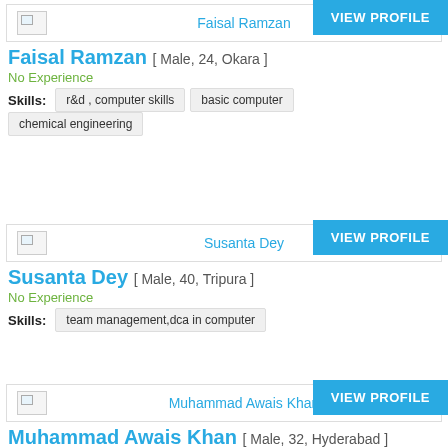VIEW PROFILE
[Figure (other): Profile image placeholder for Faisal Ramzan]
Faisal Ramzan
Faisal Ramzan [ Male, 24, Okara ]
No Experience
Skills: r&d , computer skills | basic computer | chemical engineering
VIEW PROFILE
[Figure (other): Profile image placeholder for Susanta Dey]
Susanta Dey
Susanta Dey [ Male, 40, Tripura ]
No Experience
Skills: team management,dca in computer
VIEW PROFILE
[Figure (other): Profile image placeholder for Muhammad Awais Khan]
Muhammad Awais Khan
Muhammad Awais Khan [ Male, 32, Hyderabad ]
No Experience